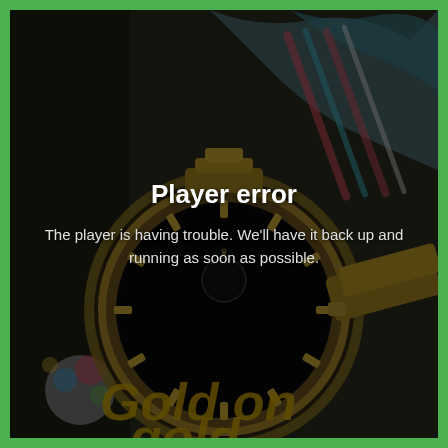[Figure (screenshot): A video player error screen overlaid on a darkened background image of a gold Rolex watch face with colorful illustrated fabric/clothing. The error message reads 'Player error' with subtext 'The player is having trouble. We'll have it back up and running as soon as possible.' Partially visible golden italic text at the bottom reads 'Gold on gold'. The entire image is framed by a bright green border.]